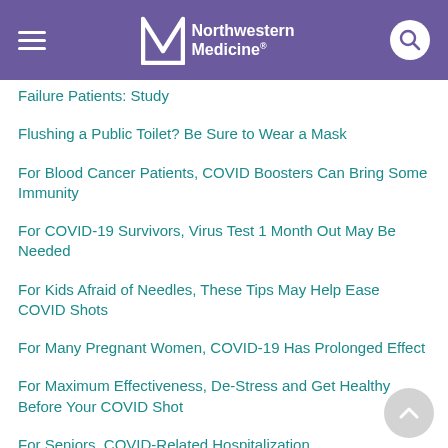Northwestern Medicine
Failure Patients: Study
Flushing a Public Toilet? Be Sure to Wear a Mask
For Blood Cancer Patients, COVID Boosters Can Bring Some Immunity
For COVID-19 Survivors, Virus Test 1 Month Out May Be Needed
For Kids Afraid of Needles, These Tips May Help Ease COVID Shots
For Many Pregnant Women, COVID-19 Has Prolonged Effect
For Maximum Effectiveness, De-Stress and Get Healthy Before Your COVID Shot
For Seniors, COVID-Related Hospitalization...